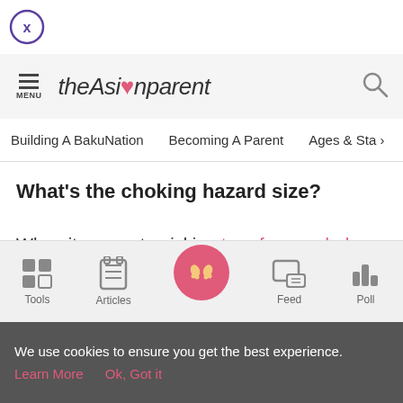[Figure (illustration): Close button - circle with X inside, purple outline]
theAsianparent - navigation header with menu icon and search icon
Building A BakuNation   Becoming A Parent   Ages & Sta >
What's the choking hazard size?
When it comes to picking toys for your baby or toddler, it can be hard to know what's safe and what isn't. According to the
[Figure (screenshot): Bottom tab bar with Tools, Articles, center baby feet icon, Feed, Poll]
We use cookies to ensure you get the best experience. Learn More   Ok, Got it